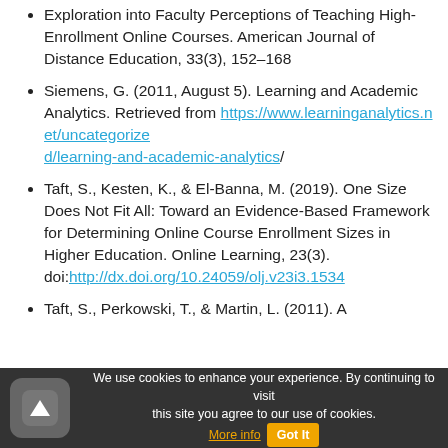Exploration into Faculty Perceptions of Teaching High-Enrollment Online Courses. American Journal of Distance Education, 33(3), 152–168
Siemens, G. (2011, August 5). Learning and Academic Analytics. Retrieved from https://www.learninganalytics.net/uncategorized/learning-and-academic-analytics/
Taft, S., Kesten, K., & El-Banna, M. (2019). One Size Does Not Fit All: Toward an Evidence-Based Framework for Determining Online Course Enrollment Sizes in Higher Education. Online Learning, 23(3). doi:http://dx.doi.org/10.24059/olj.v23i3.1534
Taft, S., Perkowski, T., & Martin, L. (2011). A
We use cookies to enhance your experience. By continuing to visit this site you agree to our use of cookies. More info  Got It